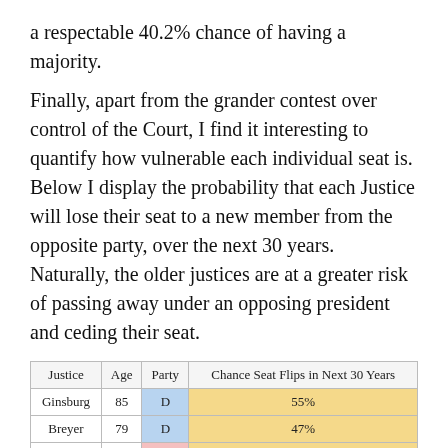a respectable 40.2% chance of having a majority.
Finally, apart from the grander contest over control of the Court, I find it interesting to quantify how vulnerable each individual seat is. Below I display the probability that each Justice will lose their seat to a new member from the opposite party, over the next 30 years. Naturally, the older justices are at a greater risk of passing away under an opposing president and ceding their seat.
| Justice | Age | Party | Chance Seat Flips in Next 30 Years |
| --- | --- | --- | --- |
| Ginsburg | 85 | D | 55% |
| Breyer | 79 | D | 47% |
| Thomas | 70 | R | 38% |
| Alito | 68 | R | 37% |